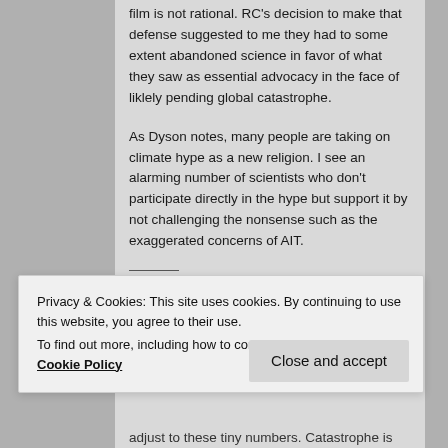film is not rational. RC's decision to make that defense suggested to me they had to some extent abandoned science in favor of what they saw as essential advocacy in the face of liklely pending global catastrophe.
As Dyson notes, many people are taking on climate hype as a new religion. I see an alarming number of scientists who don't participate directly in the hype but support it by not challenging the nonsense such as the exaggerated concerns of AIT.
Privacy & Cookies: This site uses cookies. By continuing to use this website, you agree to their use.
To find out more, including how to control cookies, see here: Cookie Policy
adjust to these tiny numbers. Catastrophe is